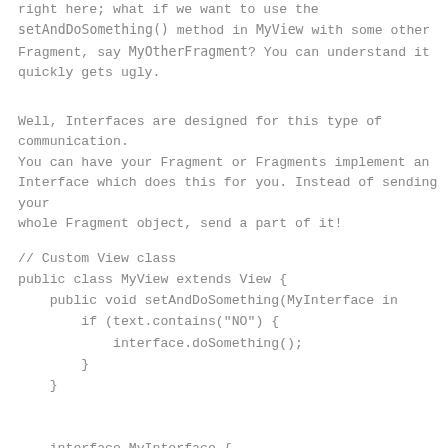right here; what if we want to use the setAndDoSomething() method in MyView with some other Fragment, say MyOtherFragment? You can understand it quickly gets ugly.
Well, Interfaces are designed for this type of communication. You can have your Fragment or Fragments implement an Interface which does this for you. Instead of sending your whole Fragment object, send a part of it!
// Custom View class
public class MyView extends View {
    public void setAndDoSomething(MyInterface in
        if (text.contains("NO") {
            interface.doSomething();
        }
    }


    interface MyInterface {
        void doSomething();